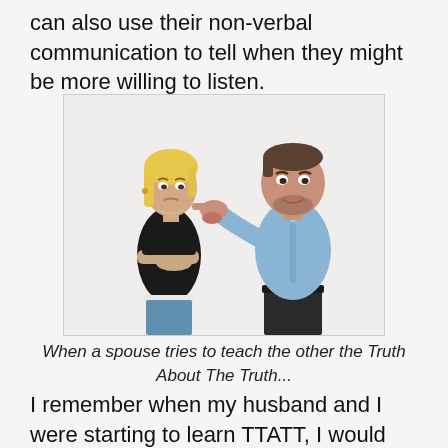can also use their non-verbal communication to tell when they might be more willing to listen.
[Figure (photo): A woman with arms crossed and skeptical expression facing a man who is pointing his finger at her, as if lecturing or arguing. White background.]
When a spouse tries to teach the other the Truth About The Truth...
I remember when my husband and I were starting to learn TTATT, I would find out something very negative about